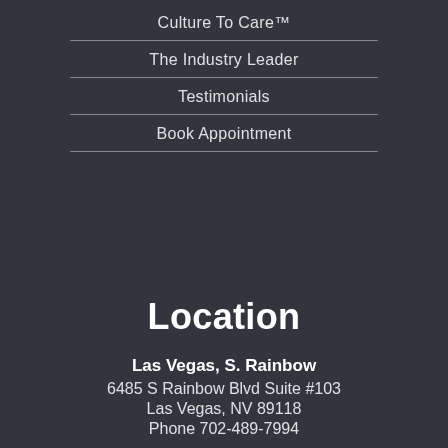Culture To Care™
The Industry Leader
Testimonials
Book Appointment
Location
Las Vegas, S. Rainbow
6485 S Rainbow Blvd Suite #103
Las Vegas, NV 89118
Phone 702-489-7994